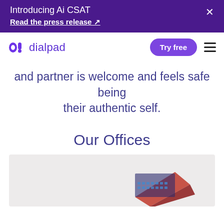Introducing Ai CSAT
Read the press release ↗
[Figure (logo): Dialpad logo with purple icon and text, Try free button, and hamburger menu]
and partner is welcome and feels safe being their authentic self.
Our Offices
[Figure (photo): Office photo showing a partial view of what appears to be a laptop or device on a light gray background]